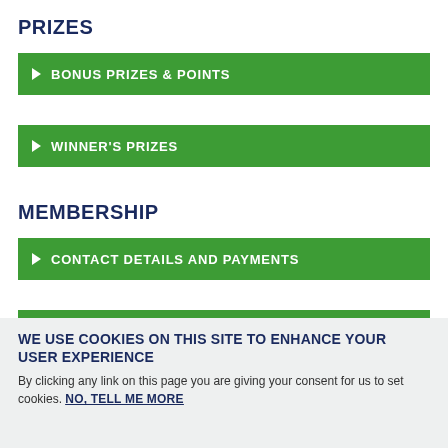PRIZES
BONUS PRIZES & POINTS
WINNER'S PRIZES
MEMBERSHIP
CONTACT DETAILS AND PAYMENTS
MEMBERSHIP REQUIREMENTS
WE USE COOKIES ON THIS SITE TO ENHANCE YOUR USER EXPERIENCE
By clicking any link on this page you are giving your consent for us to set cookies. NO, TELL ME MORE